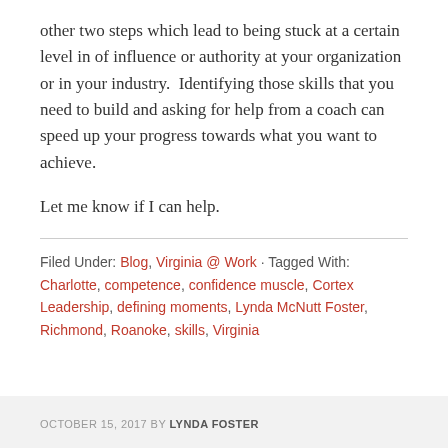other two steps which lead to being stuck at a certain level in of influence or authority at your organization or in your industry.  Identifying those skills that you need to build and asking for help from a coach can speed up your progress towards what you want to achieve.

Let me know if I can help.
Filed Under: Blog, Virginia @ Work · Tagged With: Charlotte, competence, confidence muscle, Cortex Leadership, defining moments, Lynda McNutt Foster, Richmond, Roanoke, skills, Virginia
OCTOBER 15, 2017 BY LYNDA FOSTER